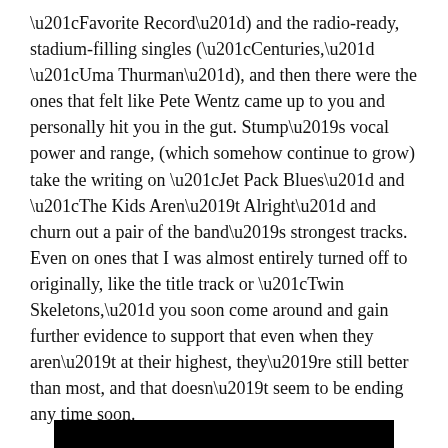“Favorite Record”) and the radio-ready, stadium-filling singles (“Centuries,” “Uma Thurman”), and then there were the ones that felt like Pete Wentz came up to you and personally hit you in the gut. Stump’s vocal power and range, (which somehow continue to grow) take the writing on “Jet Pack Blues” and “The Kids Aren’t Alright” and churn out a pair of the band’s strongest tracks. Even on ones that I was almost entirely turned off to originally, like the title track or “Twin Skeletons,” you soon come around and gain further evidence to support that even when they aren’t at their highest, they’re still better than most, and that doesn’t seem to be ending any time soon.
[Figure (other): Black horizontal bar at the bottom of the page]